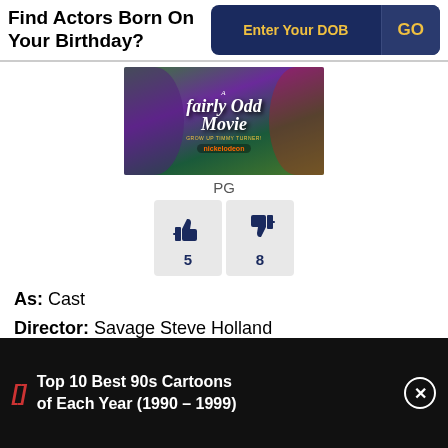Find Actors Born On Your Birthday?
[Figure (screenshot): A Fairly Odd Movie: Grow Up Timmy Turner - Nickelodeon movie poster/thumbnail]
PG
[Figure (infographic): Thumbs up count: 5, Thumbs down count: 8]
As: Cast
Director: Savage Steve Holland
Genres: Family, Comedy, Animation, Fantasy
Top 10 Best 90s Cartoons of Each Year (1990 - 1999)